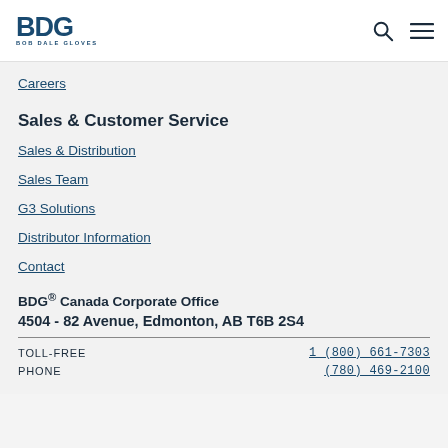BDG Bob Dale Gloves
Careers
Sales & Customer Service
Sales & Distribution
Sales Team
G3 Solutions
Distributor Information
Contact
BDG® Canada Corporate Office
4504 - 82 Avenue, Edmonton, AB T6B 2S4
TOLL-FREE  1 (800) 661-7303
PHONE  (780) 469-2100